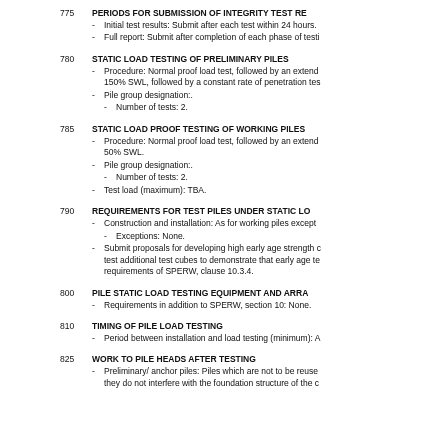775 PERIODS FOR SUBMISSION OF INTEGRITY TEST RE
Initial test results: Submit after each test within 24 hours.
Full report: Submit after completion of each phase of testi
780 STATIC LOAD TESTING OF PRELIMINARY PILES
Procedure: Normal proof load test, followed by an extend 150% SWL, followed by a constant rate of penetration tes
Pile group designation:.
Number of tests: 2.
785 STATIC LOAD PROOF TESTING OF WORKING PILES
Procedure: Normal proof load test, followed by an extend 50% SWL.
Pile group designation:.
Number of tests: 2.
Test load (maximum): TBA.
790 REQUIREMENTS FOR TEST PILES UNDER STATIC LO
Construction and installation: As for working piles except
Exceptions: None.
Submit proposals for developing high early age strength c test additional test cubes to demonstrate that early age te requirements of SPERW, clause 10.3.4.
800 PILE STATIC LOAD TESTING EQUIPMENT AND ARRA
Requirements in addition to SPERW, section 10: None.
810 TIMING OF PILE LOAD TESTING
Period between installation and load testing (minimum): A
825 WORK TO PILE HEADS AFTER TESTING
Preliminary/ anchor piles: Piles which are not to be reuse they do not interfere with the foundation structure of the c